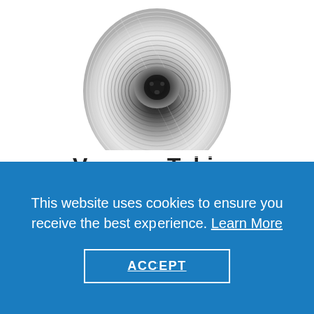[Figure (photo): A coiled roll of transparent vacuum tubing photographed from above, showing spiral wound clear plastic tubing with metallic sheen, on a white background. Partially cropped at top.]
Vacuum Tubing
Dependable Choice for Vacuum Bag and Infusion
This website uses cookies to ensure you receive the best experience. Learn More
ACCEPT